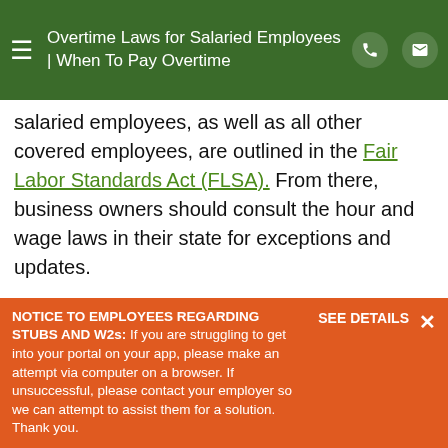Overtime Laws for Salaried Employees | When To Pay Overtime
salaried employees, as well as all other covered employees, are outlined in the Fair Labor Standards Act (FLSA). From there, business owners should consult the hour and wage laws in their state for exceptions and updates.
What are the overtime laws for salaried employees?
One common misconception is that salaried employees are unable to earn overtime pay.
NOTICE TO EMPLOYEES REGARDING STUBS AND W2s: If you are struggling to get into your portal on your app, please make an attempt via computer on a browser. If unsuccessful, please contact your employer so we can attempt to assist them for a solution. Thank you.